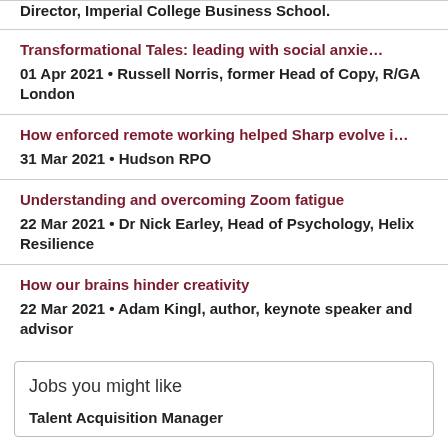Director, Imperial College Business School.
Transformational Tales: leading with social anxie…
01 Apr 2021 • Russell Norris, former Head of Copy, R/GA London
How enforced remote working helped Sharp evolve i…
31 Mar 2021 • Hudson RPO
Understanding and overcoming Zoom fatigue
22 Mar 2021 • Dr Nick Earley, Head of Psychology, Helix Resilience
How our brains hinder creativity
22 Mar 2021 • Adam Kingl, author, keynote speaker and advisor
Jobs you might like
Talent Acquisition Manager